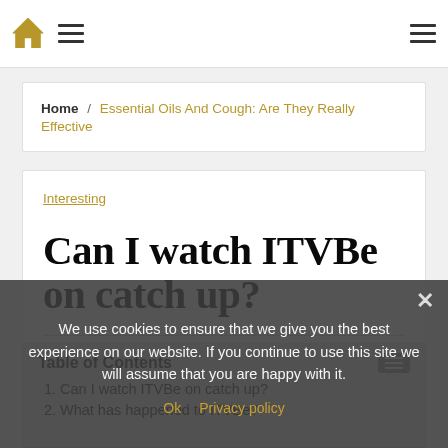Navigation bar with home icon, hamburger menu, and right hamburger menu
Home / Essential Oils And Cough: Are They Really Effective
Interesting
Can I watch ITVBe on catch up?
1. Can I watch ITVBe on catch up?
2. What has happened to ITVBe?
We use cookies to ensure that we give you the best experience on our website. If you continue to use this site we will assume that you are happy with it.
Ok   Privacy policy